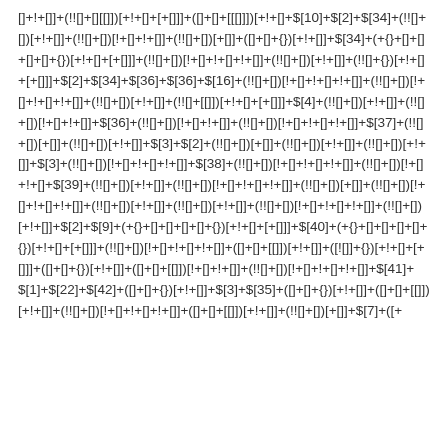[]+!+[]]+(!![]+[][[]])[+!+[]+[+[]]]+([]+[]+[[[]])[+!+[]+$[10]+$[2]+$[34]+(!![]+[])[+!+[]]+(!![]+[])[!+[]+!+[]]+(!![]+[])[+[]]+([]+[]+{})[+!+[]]+$[34]+(+{}+[]+[]+[]+[]+{})[+!+[]+[+[]]]+(!![]+[])[!+[]+!+[]+!+[]]+(!![]+[])[+!+[]]+(!![]+{})[+!+[]+[+[]]]+$[2]+$[34]+$[36]+$[36]+$[16]+(!![]+[])[!+[]+!+[]+!+[]]+(!![]+[])[+!+[]]+(!![]+[])[[+!]+[]+[[]])[+!+[]+[+[]]]+$[4]+(!![]+[])[+!+[]]+(!![]+[])[!+[]+!+[]]+$[36]+(!![]+[])[!+[]+!+[]]+(!![]+[])[!+[]+!+[]+!+[]]+$[37]+(!![]+[])[+[]]+(!![]+[])[+!+[]]+$[3]+$[2]+(!![]+[])[+[]]+(!![]+[])[+!+[]]+(!![]+[])[+!+[]]+$[3]+(!![]+[])[!+[]+!+[]+!+[]]+$[38]+(!![]+[])[!+[]+!+[]+!+[]]+(!![]+[])[!+[]+!+[]+$[39]+(!![]+[])[+!+[]]+(!![]+[])[!+[]+!+[]+!+[]]+(!![]+[])[+[]]+(!![]+[])[!+[]+!+[]+!+[]]+(!![]+[])[+!+[]]+(!![]+[])[+!+[]]+(!![]+[])[!+[]+!+[]+!+[]]+(!![]+[])[+!+[]]+$[2]+$[9]+(+{}+[]+[]+[]+[]+{})[+!+[]+[+[]]]+$[40]+(+{}+[]+[]+[]+[]+{})[+!+[]+[+[]]]+(!![]+[])[!+[]+!+[]+!+[]]+([]+[]+[[]])[+!+[]]+([![]]+{})[+!+[]+[+[]]]+([]+[]+{})[+!+[]]+([]+[]+[[]])[!+[]+!+[]]+(!![]+[])[!+[]+!+[]+!+[]]+$[41]+$[1]+$[22]+$[42]+([]+[]+{})[+!+[]]+$[3]+$[35]+([]+[]+{})[+!+[]]+([]+[]+[[]])[+!+[]]+(!![]+[])[!+[]+!+[]+!+[]]+([]+[]+[[]])[+!+[]]+(!![]+[])[+[]]+$[7]+([+